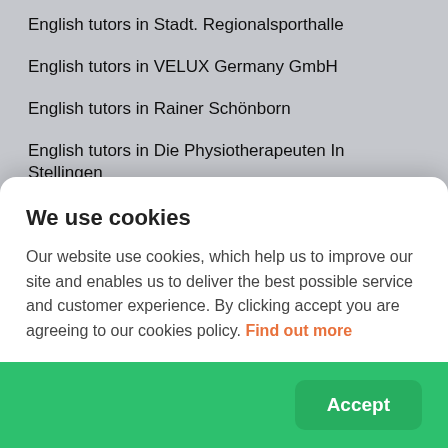English tutors in Stadt. Regionalsportha­lle
English tutors in VELUX Germany GmbH
English tutors in Rainer Schönborn
English tutors in Die Physiotherapeuten In Stellingen
English tutors in Rahlstedt
English tutors in Farmsen-Berne
English tutors in Bramfeld
English tutors in Sasel
English tutors in Lokstedt
We use cookies
Our website use cookies, which help us to improve our site and enables us to deliver the best possible service and customer experience. By clicking accept you are agreeing to our cookies policy. Find out more
Accept